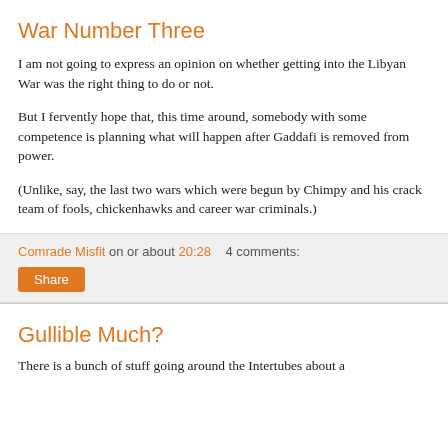War Number Three
I am not going to express an opinion on whether getting into the Libyan War was the right thing to do or not.
But I fervently hope that, this time around, somebody with some competence is planning what will happen after Gaddafi is removed from power.
(Unlike, say, the last two wars which were begun by Chimpy and his crack team of fools, chickenhawks and career war criminals.)
Comrade Misfit on or about 20:28    4 comments:
Share
Gullible Much?
There is a bunch of stuff going around the Intertubes about a